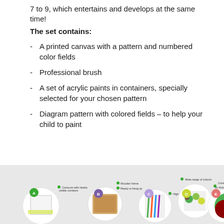7 to 9, which entertains and develops at the same time!
The set contains:
A printed canvas with a pattern and numbered color fields
Professional brush
A set of acrylic paints in containers, specially selected for your chosen pattern
Diagram pattern with colored fields – to help your child to paint
[Figure (infographic): Infographic showing 5 circular product features labeled A through E: A - Contours with clearly visible numbers (green circle), B - Wooden frame, Ready to hang up (purple circle), C - High quality brush (light purple circle), D - Wide range of colours (yellow-green circle), E - Contours are not visible on finished painting (pink-red circle). Product photos shown in circles.]